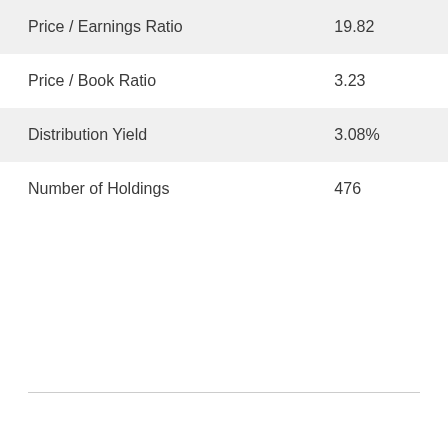|  |  |
| --- | --- |
| Price / Earnings Ratio | 19.82 |
| Price / Book Ratio | 3.23 |
| Distribution Yield | 3.08% |
| Number of Holdings | 476 |